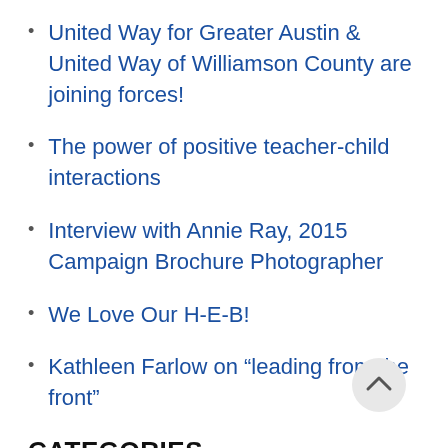United Way for Greater Austin & United Way of Williamson County are joining forces!
The power of positive teacher-child interactions
Interview with Annie Ray, 2015 Campaign Brochure Photographer
We Love Our H-E-B!
Kathleen Farlow on “leading from the front”
CATEGORIES
Williamson County